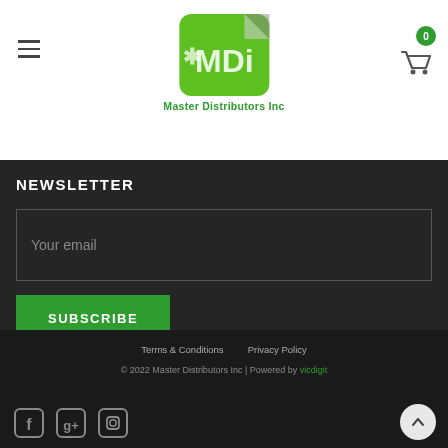[Figure (logo): MDI Master Distributors Inc logo - green square with white MDI text and a peeling corner effect]
NEWSLETTER
Your email
SUBSCRIBE
Terms & Conditions   Privacy Policy
© 2022 Master Distributors Inc | Powered by vicdigit